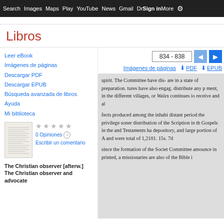Search  Images  Maps  Play  YouTube  News  Gmail  Drive  More  Sign in  ⚙
Libros
Leer eBook
Imágenes de páginas
Descargar PDF
Descargar EPUB
Búsqueda avanzada de libros
Ayuda
Mi biblioteca
0 Opiniones
Escribir un comentario
The Christian observer [afterw.] The Christian observer and advocate
834 - 838
Imágenes de páginas   ⬇ PDF   ⬇ EPUB
spirit. The Committee bave dis- are in a state of preparation. tures have also engag. distribute any p ment, in the different villages, or Wales continues io receive and al fects produced among the inhabi distant period the privilege soner distribution of the Scription in th Gospels in the and Testaments ha depository, and large portion of A and were total of 1,2101. 15s. 7d since the formation of the Societ Committee amounce in printed, a missionaries are also of the Bible i